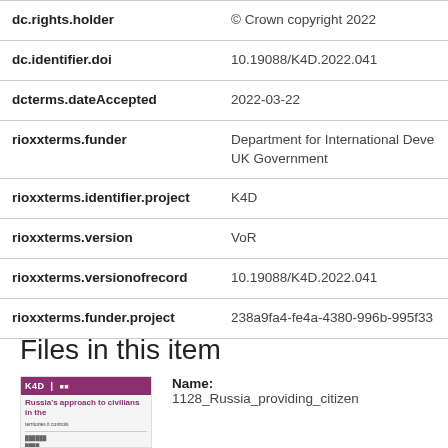| Field | Value |
| --- | --- |
| dc.rights.holder | © Crown copyright 2022 |
| dc.identifier.doi | 10.19088/K4D.2022.041 |
| dcterms.dateAccepted | 2022-03-22 |
| rioxxterms.funder | Department for International Development, UK Government |
| rioxxterms.identifier.project | K4D |
| rioxxterms.version | VoR |
| rioxxterms.versionofrecord | 10.19088/K4D.2022.041 |
| rioxxterms.funder.project | 238a9fa4-fe4a-4380-996b-995f33 |
Files in this item
[Figure (other): Thumbnail image of document cover for K4D report on Russia's approach to civilians in the territories it controls]
Name: 1128_Russia_providing_citizen